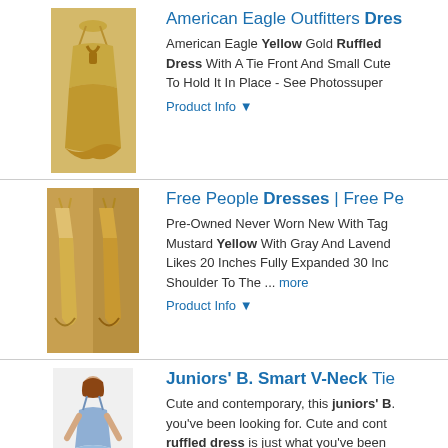[Figure (photo): American Eagle yellow gold ruffled dress on hanger]
American Eagle Outfitters Dres...
American Eagle Yellow Gold Ruffled Dress With A Tie Front And Small Cut... To Hold It In Place - See Photossuper...
Product Info ▼
[Figure (photo): Free People mustard yellow dresses on hangers]
Free People Dresses | Free P...
Pre-Owned Never Worn New With Tag... Mustard Yellow With Gray And Lavend... Likes 20 Inches Fully Expanded 30 Inc... Shoulder To The ... more
Product Info ▼
[Figure (photo): Juniors B Smart V-Neck tie ruffled dress on model]
Juniors' B. Smart V-Neck Tie...
Cute and contemporary, this juniors' B... you've been looking for. Cute and cont... ruffled dress is just what you've been... zipper ... more
Product Info ▼
[Figure (photo): Juniors B Smart V-Neck Spaghetti strap floral dress on model]
Juniors' B. Smart V-Neck Spa...
A sweet look that's always in style. You... B. Smart floral print dress. A sweet lo... classic charm of this juniors' B. Smar...
Product Info ▼